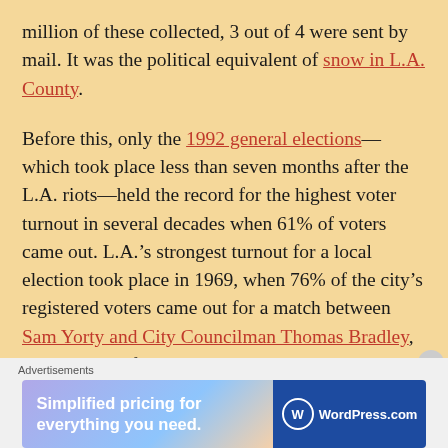million of these collected, 3 out of 4 were sent by mail. It was the political equivalent of snow in L.A. County.
Before this, only the 1992 general elections—which took place less than seven months after the L.A. riots—held the record for the highest voter turnout in several decades when 61% of voters came out. L.A.'s strongest turnout for a local election took place in 1969, when 76% of the city's registered voters came out for a match between Sam Yorty and City Councilman Thomas Bradley, a major drive for which was Yorty's
Advertisements
Simplified pricing for everything you need. WordPress.com